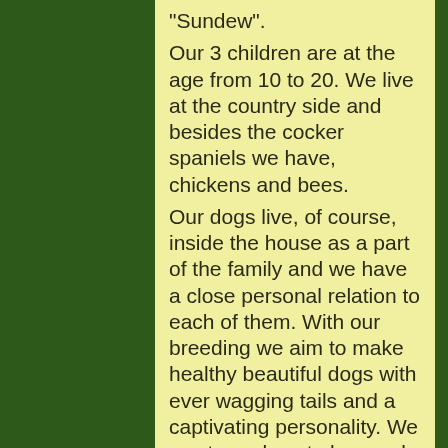"Sundew".

Our 3 children are at the age from 10 to 20. We live at the country side and besides the cocker spaniels we have, chickens and bees.
Our dogs live, of course, inside the house as a part of the family and we have a close personal relation to each of them. With our breeding we aim to make healthy beautiful dogs with ever wagging tails and a captivating personality. We want our dogs to be good at both working - but just as important - relaxing. Therefor it is our goal to make sure that all of our bitches has achieved at least "Exellent" on a FCI approved show. That they have passed an